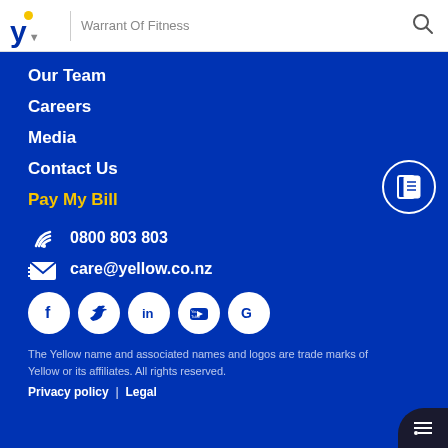Warrant Of Fitness
Our Team
Careers
Media
Contact Us
Pay My Bill
0800 803 803
care@yellow.co.nz
[Figure (logo): Social media icons: Facebook, Twitter, LinkedIn, YouTube, Google]
The Yellow name and associated names and logos are trade marks of Yellow or its affiliates. All rights reserved.
Privacy policy  |  Legal